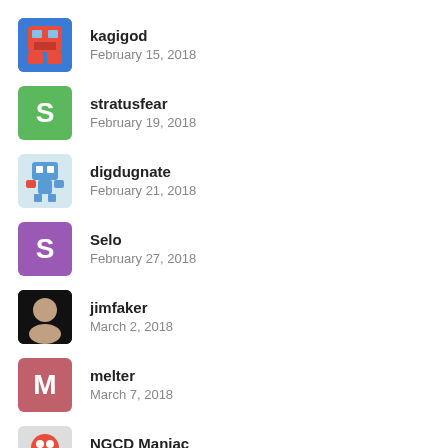kagigod
February 15, 2018
stratusfear
February 19, 2018
digdugnate
February 21, 2018
Selo
February 27, 2018
jimfaker
March 2, 2018
melter
March 7, 2018
NGCD Maniac
March 17, 2018
CharonPDX